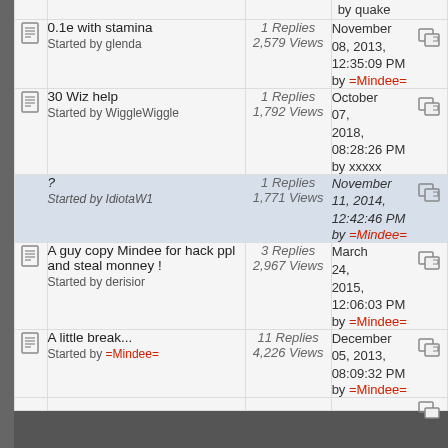|  | Topic | Stats | Last Post |
| --- | --- | --- | --- |
|  | 0.1e with stamina
Started by glenda | 1 Replies
2,579 Views | November 08, 2013, 12:35:09 PM
by =Mindee= |
|  | 30 Wiz help
Started by WiggleWiggle | 1 Replies
1,792 Views | October 07, 2018, 08:28:26 PM
by xxxxx |
|  | ?
Started by IdiotaW1 | 1 Replies
1,771 Views | November 11, 2014, 12:42:46 PM
by =Mindee= |
|  | A guy copy Mindee for hack ppl and steal monney !
Started by derisior | 3 Replies
2,967 Views | March 24, 2015, 12:06:03 PM
by =Mindee= |
|  | A little break...
Started by =Mindee= | 11 Replies
4,226 Views | December 05, 2013, 08:09:32 PM
by =Mindee= |